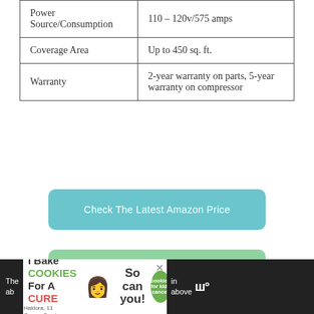| Power
Source/Consumption | 110 – 120v/575 amps |
| Coverage Area | Up to 450 sq. ft. |
| Warranty | 2-year warranty on parts, 5-year warranty on compressor |
Check The Latest Amazon Price
Compare at Sylvane.com
[Figure (screenshot): Advertisement banner: I Bake COOKIES For A CURE / Haldora, 11 Cancer Survivor / So can you! / cookies for kids cancer logo / close button / weather icon]